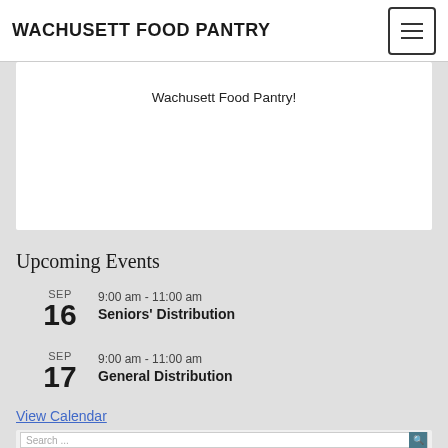WACHUSETT FOOD PANTRY
Wachusett Food Pantry!
Upcoming Events
SEP 16 · 9:00 am - 11:00 am · Seniors' Distribution
SEP 17 · 9:00 am - 11:00 am · General Distribution
View Calendar